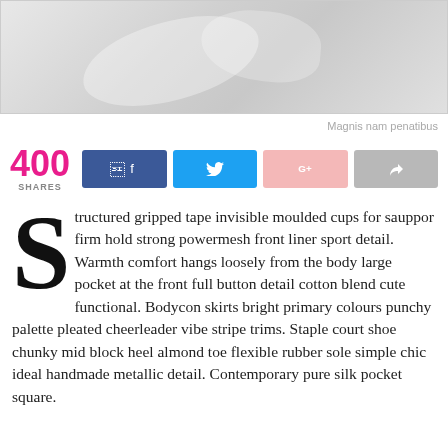[Figure (photo): Light gray fabric or textile close-up photo with soft shadows and highlights]
Magnis nam penatibus
400 SHARES
Structured gripped tape invisible moulded cups for sauppor firm hold strong powermesh front liner sport detail. Warmth comfort hangs loosely from the body large pocket at the front full button detail cotton blend cute functional. Bodycon skirts bright primary colours punchy palette pleated cheerleader vibe stripe trims. Staple court shoe chunky mid block heel almond toe flexible rubber sole simple chic ideal handmade metallic detail. Contemporary pure silk pocket square.